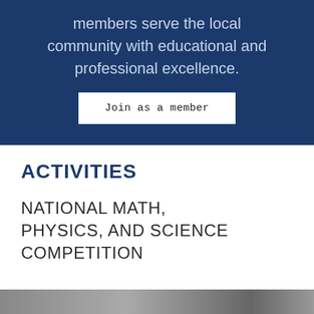members serve the local community with educational and professional excellence.
Join as a member
ACTIVITIES
NATIONAL MATH, PHYSICS, AND SCIENCE COMPETITION
[Figure (photo): Bottom edge of page showing a partial photograph]